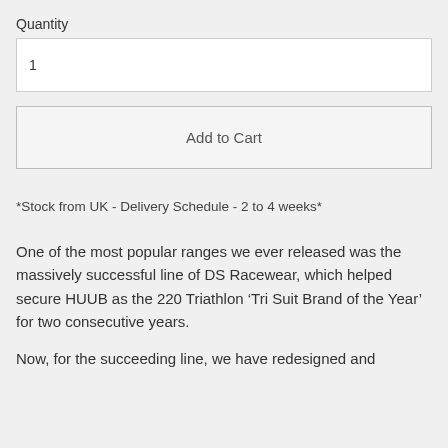Quantity
1
Add to Cart
*Stock from UK - Delivery Schedule - 2 to 4 weeks*
One of the most popular ranges we ever released was the massively successful line of DS Racewear, which helped secure HUUB as the 220 Triathlon ‘Tri Suit Brand of the Year’ for two consecutive years.
Now, for the succeeding line, we have redesigned and